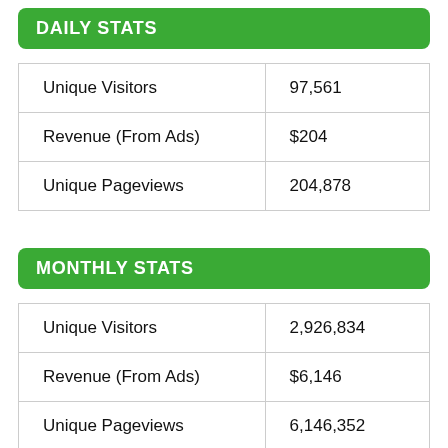DAILY STATS
| Unique Visitors | 97,561 |
| Revenue (From Ads) | $204 |
| Unique Pageviews | 204,878 |
MONTHLY STATS
| Unique Visitors | 2,926,834 |
| Revenue (From Ads) | $6,146 |
| Unique Pageviews | 6,146,352 |